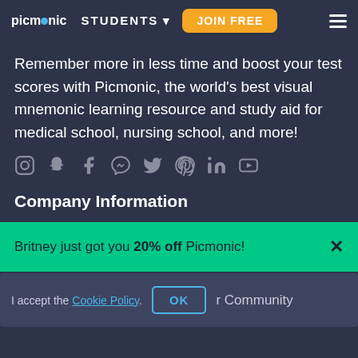picmonic | STUDENTS | JOIN FREE
Remember more in less time and boost your test scores with Picmonic, the world's best visual mnemonic learning resource and study aid for medical school, nursing school, and more!
[Figure (other): Row of social media icons: Instagram, Snapchat, two Facebook icons, Twitter, Pinterest, LinkedIn, YouTube]
Company Information
Britney just got you 20% off Picmonic!
I accept the Cookie Policy. OK or Community